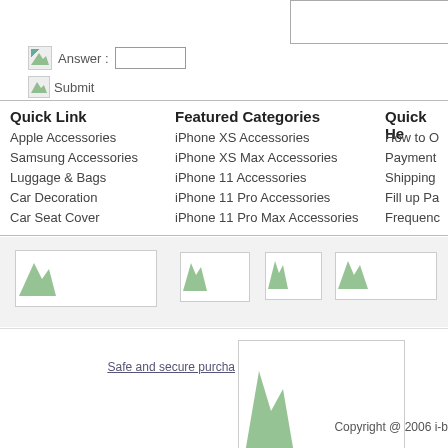[Figure (screenshot): Top input box partially visible at top right]
Answer :  [input field]
Submit
Quick Link
Apple Accessories
Samsung Accessories
Luggage & Bags
Car Decoration
Car Seat Cover
Featured Categories
iPhone XS Accessories
iPhone XS Max Accessories
iPhone 11 Accessories
iPhone 11 Pro Accessories
iPhone 11 Pro Max Accessories
Quick He...
How to O...
Payment...
Shipping...
Fill up Pa...
Frequence...
[Figure (logo): Logo images/partner images row on grey background]
[Figure (photo): Payment/security image box]
Safe and secure purcha...
Copyright @ 2006 i-b...